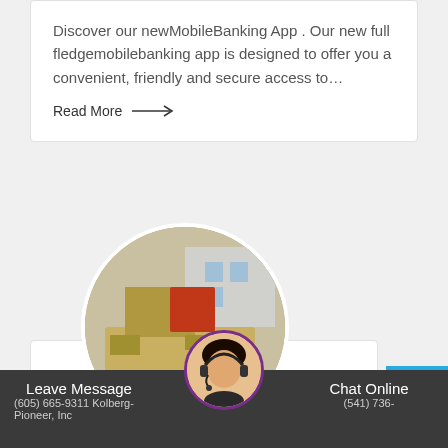Discover our newMobileBanking App . Our new full fledgemobilebanking app is designed to offer you a convenient, friendly and secure access to…
Read More →
[Figure (photo): Circular cropped photo of heavy industrial machinery/crusher equipment on a flatbed trailer in a yard]
KPI JCI and AstecMobile Screens Home
Leave Message  (605) 665-9311 Kolberg-Pioneer, Inc  Chat Online  (541) 736-